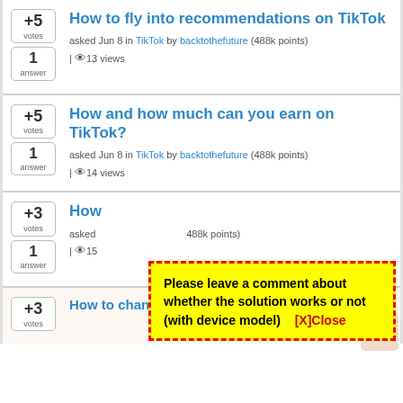+5 votes | 1 answer | How to fly into recommendations on TikTok | asked Jun 8 in TikTok by backtothefuture (488k points) | 13 views
+5 votes | 1 answer | How and how much can you earn on TikTok? | asked Jun 8 in TikTok by backtothefuture (488k points) | 14 views
+3 votes | 1 answer | How [truncated] | asked [truncated] 488k points | 15 views
[Figure (screenshot): Yellow popup box with red dashed border: 'Please leave a comment about whether the solution works or not (with device model)  [X]Close']
+3 votes | How to change hairstyles and hair color on TikTok [partial]